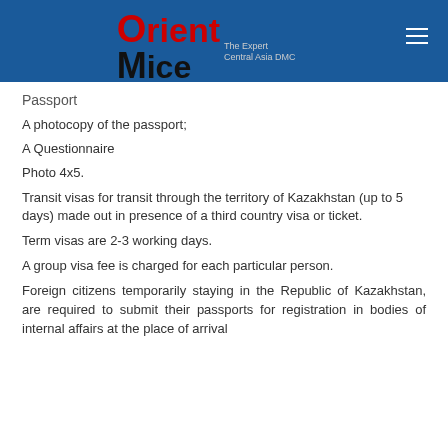[Figure (logo): Orient Mice logo - The Expert Central Asia DMC - on blue header bar]
Passport
A photocopy of the passport;
A Questionnaire
Photo 4x5.
Transit visas for transit through the territory of Kazakhstan (up to 5 days) made out in presence of a third country visa or ticket.
Term visas are 2-3 working days.
A group visa fee is charged for each particular person.
Foreign citizens temporarily staying in the Republic of Kazakhstan, are required to submit their passports for registration in bodies of internal affairs at the place of arrival